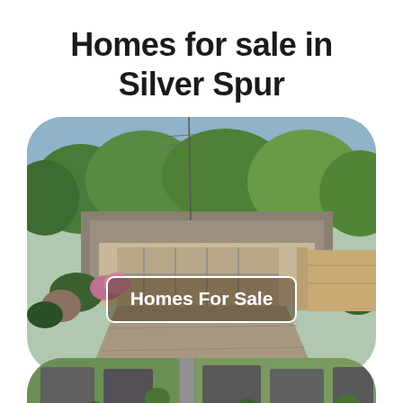Homes for sale in Silver Spur
[Figure (photo): Aerial/front view photo of a single-story suburban home with driveway, surrounded by green trees and hedges, with a white-bordered label reading 'Homes For Sale']
[Figure (photo): Aerial view of suburban neighborhood showing rooftops and green lawns, with a partial white-bordered label at the bottom (text partially cut off)]